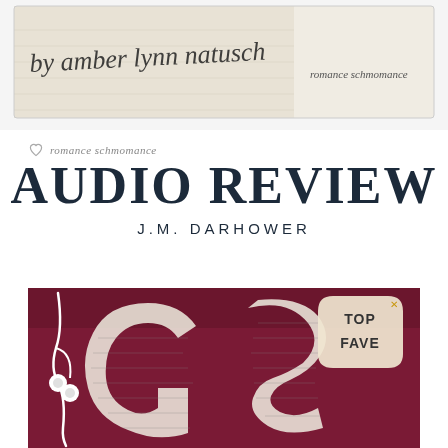[Figure (illustration): Top banner with handwritten text 'by amber lynn natusch' on a cream/beige notebook paper background with graph lines, and a sticky note saying 'romance schmomance' in the top right corner]
romance schmomance
AUDIO REVIEW
J.M. DARHOWER
[Figure (photo): Book cover image showing large letters 'GS' made of newspaper/book text collaged together, on a dark maroon/burgundy background, with white earbuds/headphones on the left side, and a 'TOP FAVE' badge in the upper right corner]